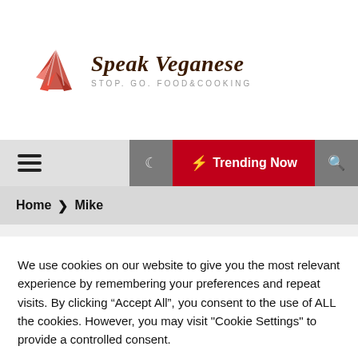[Figure (logo): Speak Veganese logo with red geometric bird/fox icon and italic serif text. Subtitle reads: STOP. GO. FOOD&COOKING]
Speak Veganese — STOP. GO. FOOD&COOKING
Home > Mike
We use cookies on our website to give you the most relevant experience by remembering your preferences and repeat visits. By clicking "Accept All", you consent to the use of ALL the cookies. However, you may visit "Cookie Settings" to provide a controlled consent.
Cookie Settings  Accept All